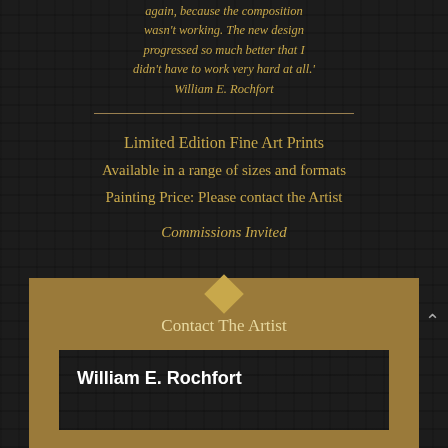again, because the composition wasn't working. The new design progressed so much better that I didn't have to work very hard at all.' William E. Rochfort
Limited Edition Fine Art Prints
Available in a range of sizes and formats
Painting Price: Please contact the Artist
Commissions Invited
Contact The Artist
William E. Rochfort